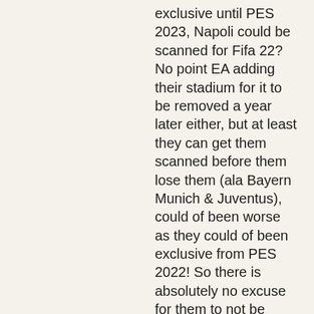exclusive until PES 2023, Napoli could be scanned for Fifa 22? No point EA adding their stadium for it to be removed a year later either, but at least they can get them scanned before them lose them (ala Bayern Munich & Juventus), could of been worse as they could of been exclusive from PES 2022! So there is absolutely no excuse for them to not be scanned in Fifa 22.
Along with the 15+ Title Updates over 6 months until the game is in some type of playable order.S.
Not sure if there are any Ligue 1 leaks, but definitely wouldn't be surprised if they did announce something closer to the date for a possible Ligue 1 partnership."
I have to agree
[22] Wrexham's last appearance in the